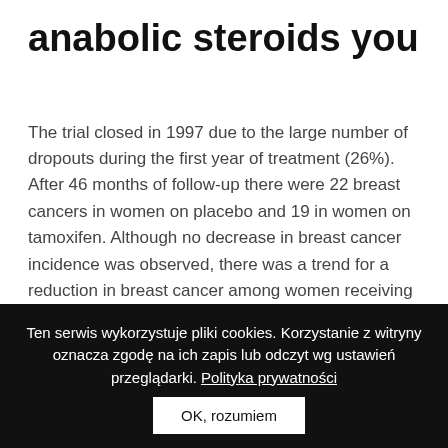anabolic steroids you
The trial closed in 1997 due to the large number of dropouts during the first year of treatment (26%). After 46 months of follow-up there were 22 breast cancers in women on placebo and 19 in women on tamoxifen. Although no decrease in breast cancer incidence was observed, there was a trend for a reduction in breast cancer among women receiving protocol therapy for at least 1 year (19-placebo, 11-tamoxifen). The small numbers of participants along with the low level of risk in this otherwise healthy group precluded an adequate assessment of the effect of tamoxifen in reducing the
Ten serwis wykorzystuje pliki cookies. Korzystanie z witryny oznacza zgodę na ich zapis lub odczyt wg ustawień przeglądarki. Polityka prywatności  OK, rozumiem